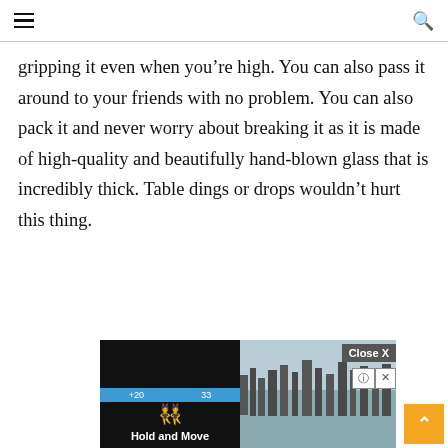navigation menu and search icon
gripping it even when you’re high. You can also pass it around to your friends with no problem. You can also pack it and never worry about breaking it as it is made of high-quality and beautifully hand-blown glass that is incredibly thick. Table dings or drops wouldn’t hurt this thing.
[Figure (screenshot): Mobile advertisement overlay showing a game ad for 'Hold and Move' with a dark game UI panel, a landscape background photo of trees, a 'Close X' button, info/close icons, and an orange back-to-top arrow button.]